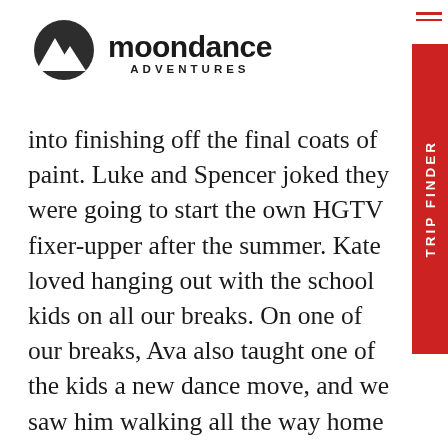[Figure (logo): Moondance Adventures logo with mountain icon and text]
into finishing off the final coats of paint. Luke and Spencer joked they were going to start the own HGTV fixer-upper after the summer. Kate loved hanging out with the school kids on all our breaks. On one of our breaks, Ava also taught one of the kids a new dance move, and we saw him walking all the way home doing his new moves. Isobel and Joe befriended a kid named Alfonso and played soccer with him in the afternoon. Sebastian became good friends with one of the kids too, and chatted with him for a good while about mountain biking. Dottie enjoyed just getting to see the school where they studied, and she was grateful to have the